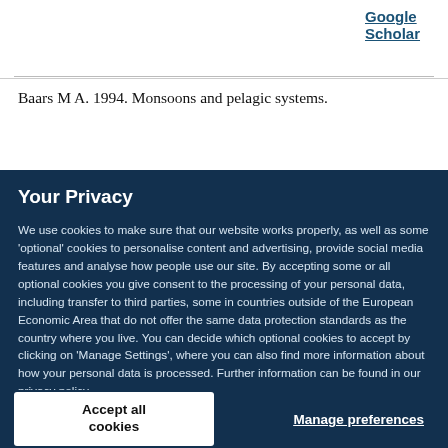Google Scholar
Baars M A. 1994. Monsoons and pelagic systems.
Your Privacy
We use cookies to make sure that our website works properly, as well as some ‘optional’ cookies to personalise content and advertising, provide social media features and analyse how people use our site. By accepting some or all optional cookies you give consent to the processing of your personal data, including transfer to third parties, some in countries outside of the European Economic Area that do not offer the same data protection standards as the country where you live. You can decide which optional cookies to accept by clicking on ‘Manage Settings’, where you can also find more information about how your personal data is processed. Further information can be found in our privacy policy.
Accept all cookies
Manage preferences